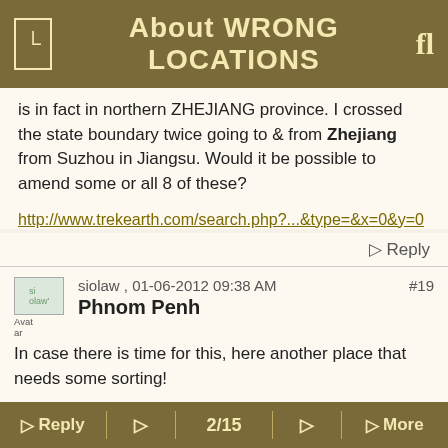About WRONG LOCATIONS
is in fact in northern ZHEJIANG province. I crossed the state boundary twice going to & from Zhejiang from Suzhou in Jiangsu. Would it be possible to amend some or all 8 of these?
http://www.trekearth.com/search.php?...&type=&x=0&y=0
⊳ Reply
siolaw , 01-06-2012 09:38 AM  #19
Phnom Penh
In case there is time for this, here another place that needs some sorting!
The normal spelling of Cambodia's capital is Phnom Penh
⊳ Reply  ⊳  2/15  ⊳  ⊳ More